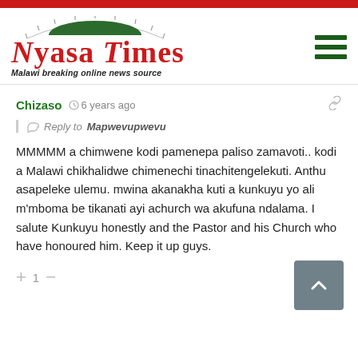Nyasa Times - Malawi breaking online news source
Chizaso  6 years ago
Reply to Mapwevupwevu
MMMMM a chimwene kodi pamenepa paliso zamavoti.. kodi a Malawi chikhalidwe chimenechi tinachitengelekuti. Anthu asapeleke ulemu. mwina akanakha kuti a kunkuyu yo ali m'mboma be tikanati ayi achurch wa akufuna ndalama. I salute Kunkuyu honestly and the Pastor and his Church who have honoured him. Keep it up guys.